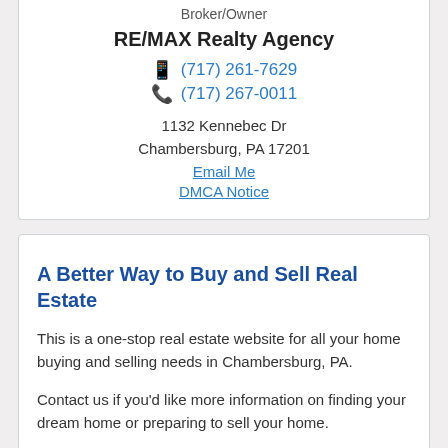Broker/Owner
RE/MAX Realty Agency
(717) 261-7629
(717) 267-0011
1132 Kennebec Dr
Chambersburg, PA 17201
Email Me
DMCA Notice
A Better Way to Buy and Sell Real Estate
This is a one-stop real estate website for all your home buying and selling needs in Chambersburg, PA.
Contact us if you'd like more information on finding your dream home or preparing to sell your home.